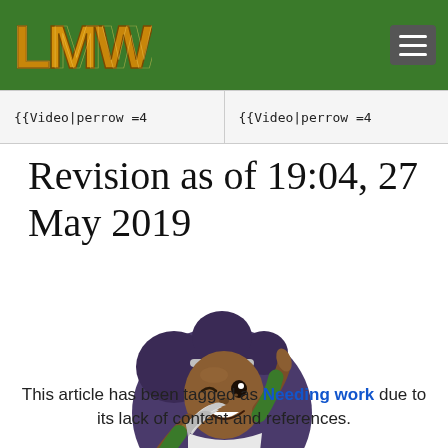LMW logo and navigation header
{{Video|perrow =4    {{Video|perrow =4
Revision as of 19:04, 27 May 2019
[Figure (illustration): Cartoon character: a smiling girl with dark skin, purple hair bun, wearing a green and white maid outfit, holding a feather duster and raising one finger]
This article has been tagged as Needing work due to its lack of content and references.